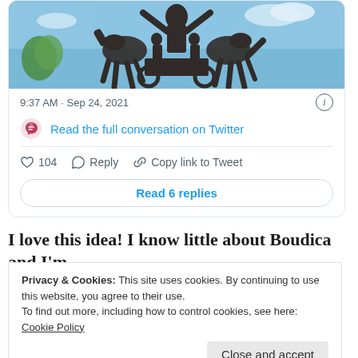[Figure (screenshot): Tweet card showing a bronze statue photo with timestamp 9:37 AM · Sep 24, 2021, a link to read the full conversation on Twitter, action buttons (104 likes, Reply, Copy link to Tweet), and a Read 6 replies button.]
I love this idea! I know little about Boudica and I'm
Privacy & Cookies: This site uses cookies. By continuing to use this website, you agree to their use.
To find out more, including how to control cookies, see here: Cookie Policy
Close and accept
Fun item number four: the final season of Lucifer